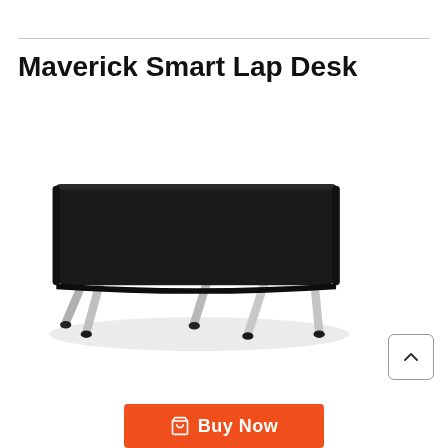Maverick Smart Lap Desk
[Figure (photo): A black rectangular lap desk with silver folding metal legs, viewed from a slight angle showing the top surface and all four legs.]
Buy Now